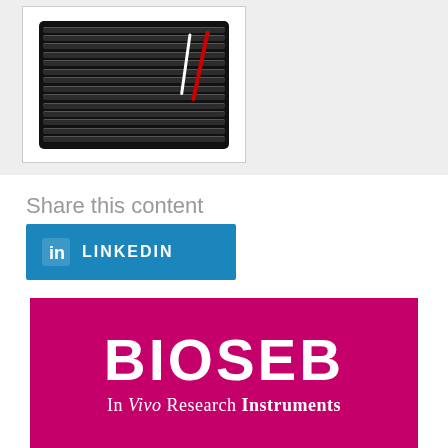[Figure (photo): Product photo of a dark/black laboratory instrument (hot plate or grid device) with red and white pencil/probe accessories, shown in a white-bordered box against a light gray background]
Share this content
[Figure (logo): LinkedIn share button — blue rectangle with LinkedIn 'in' icon and text 'LINKEDIN' in white]
[Figure (logo): BIOSEB logo on magenta/pink background with text 'BIOSEB' in large white bold letters and subtitle 'In Vivo Research Instruments']